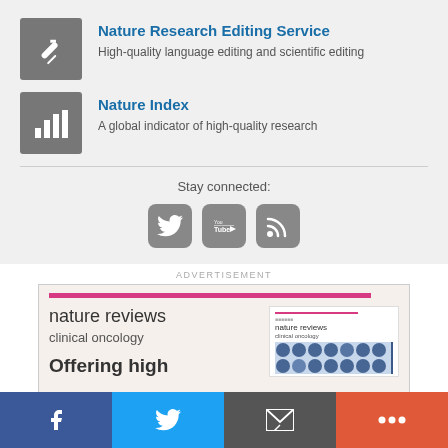Nature Research Editing Service
High-quality language editing and scientific editing
Nature Index
A global indicator of high-quality research
Stay connected:
[Figure (screenshot): Social media icons: Twitter bird, YouTube logo, RSS feed icon]
ADVERTISEMENT
[Figure (screenshot): Advertisement for Nature Reviews Clinical Oncology journal showing journal title, pink bar, mini cover image, and text 'Offering high']
[Figure (screenshot): Bottom social share bar with Facebook (blue), Twitter (light blue), Email/share (gray), and More (orange-red) buttons]